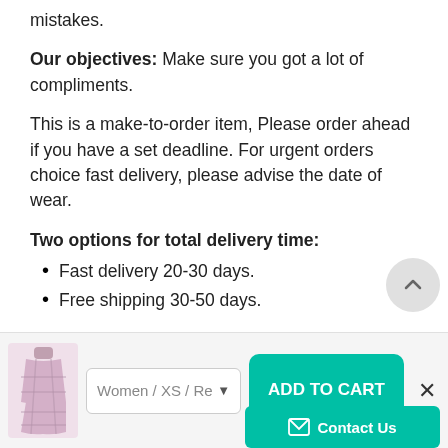mistakes.
Our objectives: Make sure you got a lot of compliments.
This is a make-to-order item, Please order ahead if you have a set deadline. For urgent orders choice fast delivery, please advise the date of wear.
Two options for total delivery time:
Fast delivery 20-30 days.
Free shipping 30-50 days.
Payment method: We only accept payment via PayPal. All major credit cards are accepted
[Figure (other): Product thumbnail image of a pink plaid dress]
Women / XS / Re
ADD TO CART
Contact Us